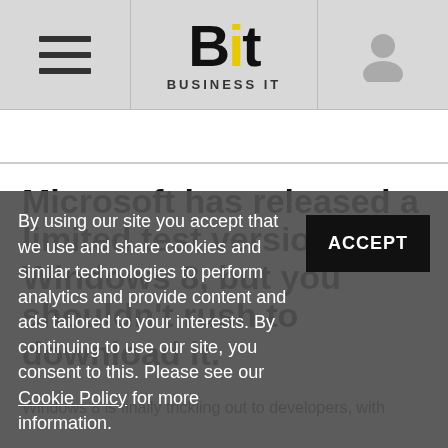Bit Business IT
Microsoft has released a limited test version of Windows 8, but you shouldn't rush to download it.
Windows 8 is finally trickling out to developers, with
By using our site you accept that we use and share cookies and similar technologies to perform analytics and provide content and ads tailored to your interests. By continuing to use our site, you consent to this. Please see our Cookie Policy for more information.